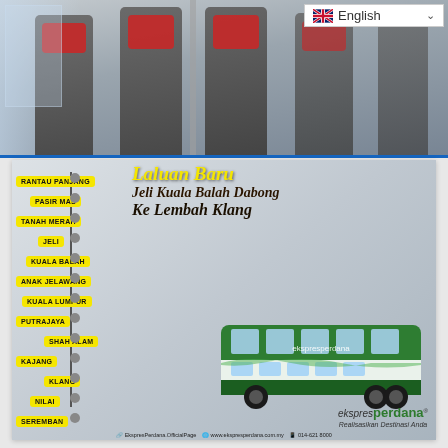[Figure (photo): Interior of a bus showing grey seats with red headrests/covers]
[Figure (infographic): Ekspres Perdana bus company advertisement showing route stops from Rantau Panjang, Pasir Mas, Tanah Merah, Jeli, Kuala Balah, Anak Jelawang, Kuala Lumpur, Putrajaya, Shah Alam, Kajang, Klang, Nilai, Seremban to Lembah Klang with a double-decker bus image and company branding]
Laluan Baru Jeli Kuala Balah Dabong Ke Lembah Klang
RANTAU PANJANG
PASIR MAS
TANAH MERAH
JELI
KUALA BALAH
ANAK JELAWANG
KUALA LUMPUR
PUTRAJAYA
SHAH ALAM
KAJANG
KLANG
NILAI
SEREMBAN
ekspres perdana - Realisasikan Destinasi Anda
EkspresPerdana.OfficialPage | www.ekspresperdana.com.my | 014-621 8000